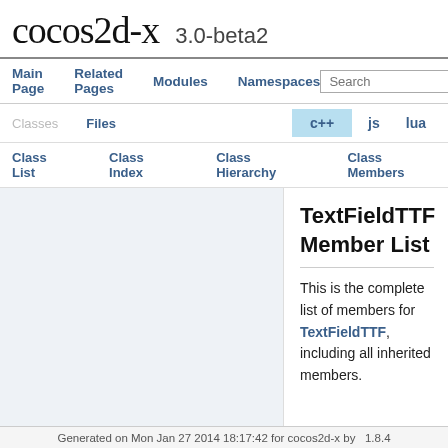cocos2d-x  3.0-beta2
Main Page  Related Pages  Modules  Namespaces
Classes  Files  Search  c++  js  lua
Class List  Class Index  Class Hierarchy  Class Members
TextFieldTTF Member List
This is the complete list of members for TextFieldTTF, including all inherited members.
Generated on Mon Jan 27 2014 18:17:42 for cocos2d-x by  1.8.4